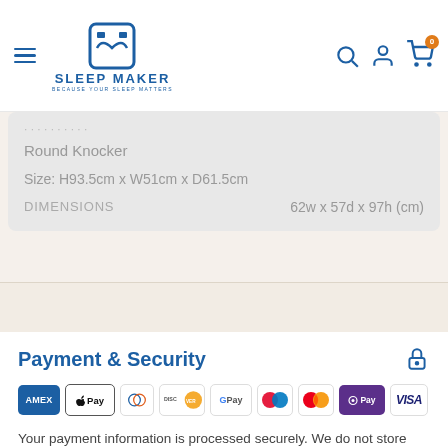[Figure (logo): Sleep Maker logo with icon and tagline 'Because your sleep matters']
Round Knocker
Size: H93.5cm x W51cm x D61.5cm
| DIMENSIONS | 62w x 57d x 97h (cm) |
| --- | --- |
Payment & Security
[Figure (infographic): Payment method logos: American Express, Apple Pay, Diners Club, Discover, Google Pay, Maestro, Mastercard, Shop Pay, Visa]
Your payment information is processed securely. We do not store credit card details nor have access to your credit card information.